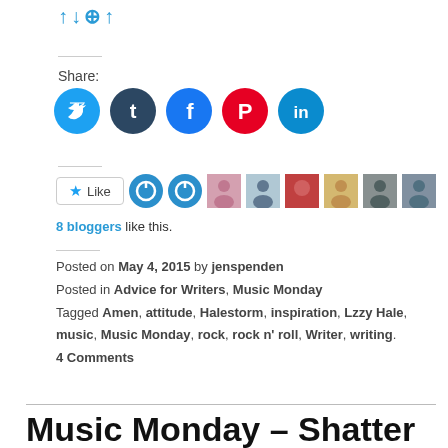↑↓⊕↑
Share:
[Figure (infographic): Social share buttons: Twitter (blue), Tumblr (dark blue), Facebook (blue), Pinterest (red), LinkedIn (teal)]
[Figure (infographic): Like button and 8 blogger avatars]
8 bloggers like this.
Posted on May 4, 2015 by jenspenden
Posted in Advice for Writers, Music Monday
Tagged Amen, attitude, Halestorm, inspiration, Lzzy Hale, music, Music Monday, rock, rock n' roll, Writer, writing.
4 Comments
Music Monday – Shatter